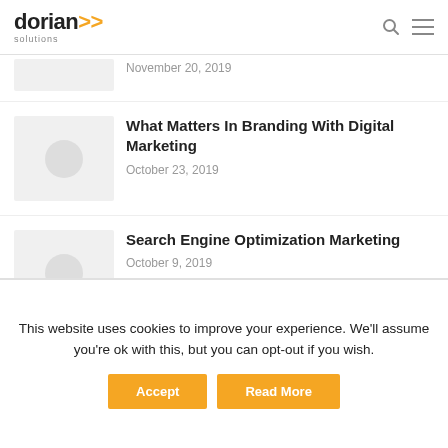dorian solutions
November 20, 2019
What Matters In Branding With Digital Marketing
October 23, 2019
Search Engine Optimization Marketing
October 9, 2019
This website uses cookies to improve your experience. We'll assume you're ok with this, but you can opt-out if you wish.